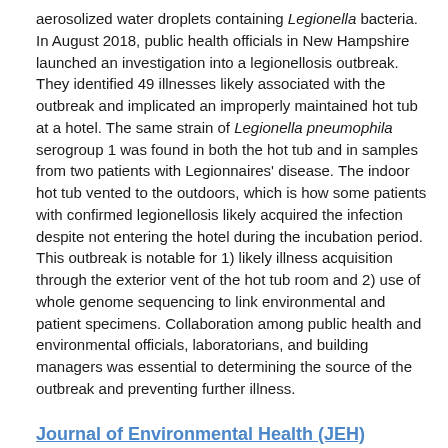aerosolized water droplets containing Legionella bacteria. In August 2018, public health officials in New Hampshire launched an investigation into a legionellosis outbreak. They identified 49 illnesses likely associated with the outbreak and implicated an improperly maintained hot tub at a hotel. The same strain of Legionella pneumophila serogroup 1 was found in both the hot tub and in samples from two patients with Legionnaires' disease. The indoor hot tub vented to the outdoors, which is how some patients with confirmed legionellosis likely acquired the infection despite not entering the hotel during the incubation period. This outbreak is notable for 1) likely illness acquisition through the exterior vent of the hot tub room and 2) use of whole genome sequencing to link environmental and patient specimens. Collaboration among public health and environmental officials, laboratorians, and building managers was essential to determining the source of the outbreak and preventing further illness.
Journal of Environmental Health (JEH)
June 2022
June 2022
84.10 | 16-24